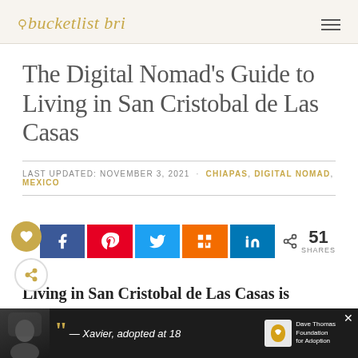bucketlist bri
The Digital Nomad's Guide to Living in San Cristobal de Las Casas
LAST UPDATED: NOVEMBER 3, 2021 · CHIAPAS, DIGITAL NOMAD, MEXICO
[Figure (infographic): Social share buttons: heart/save button (gold), share count 4, Facebook (blue), Pinterest (red), Twitter (blue), Mix (orange), LinkedIn (blue), total 51 SHARES, reshare button]
Living in San Cristobal de Las Casas is
[Figure (infographic): Advertisement banner at bottom: dark background, photo of person, quote mark, text '— Xavier, adopted at 18', Dave Thomas Foundation for Adoption logo]